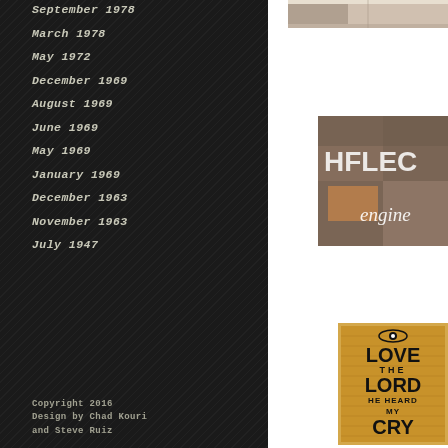September 1978
March 1978
May 1972
December 1969
August 1969
June 1969
May 1969
January 1969
December 1963
November 1963
July 1947
Copyright 2016
Design by Chad Kouri
and Steve Ruiz
[Figure (photo): Partial photo of artwork, top right panel]
[Figure (photo): Magazine collage artwork with text overlay reading 'HELL engine' in right panel middle]
[Figure (photo): Letter board artwork reading 'LOVE THE LORD HE HEARD MY CRY' in right panel bottom]